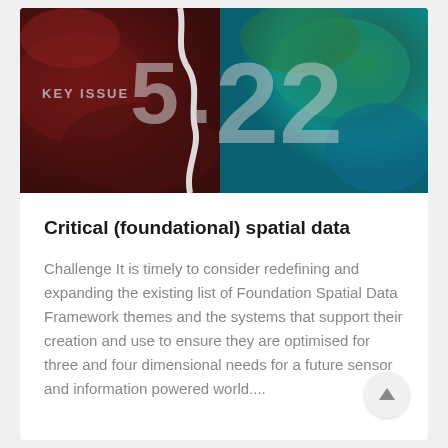[Figure (photo): Satellite aerial image showing landscape with red/brown terrain on left, a winding white river/boundary in the center, and teal/green terrain on the right. Overlaid with large semi-transparent text 'KEY ISSUE 5 . 22']
Critical (foundational) spatial data
Challenge It is timely to consider redefining and expanding the existing list of Foundation Spatial Data Framework themes and the systems that support their creation and use to ensure they are optimised for three and four dimensional needs for a future sensor and information powered world....